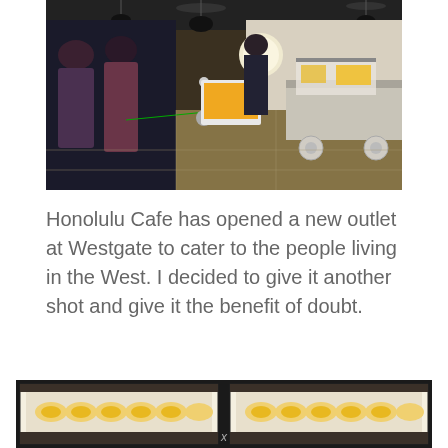[Figure (photo): Interior of Honolulu Cafe at Westgate showing customers queuing behind a green rope barrier, food display counters, a digital menu kiosk, and food cart. The cafe interior has wooden flooring and pendant lights.]
Honolulu Cafe has opened a new outlet at Westgate to cater to the people living in the West. I decided to give it another shot and give it the benefit of doubt.
[Figure (photo): Two side-by-side photos of egg tart or similar pastry items displayed in black-framed trays with light backgrounds.]